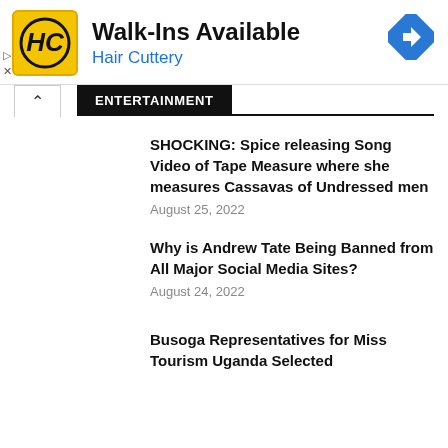[Figure (infographic): Hair Cuttery advertisement banner with yellow logo, 'Walk-Ins Available' headline, blue 'Hair Cuttery' subtext, and blue navigation diamond icon on the right.]
ENTERTAINMENT
SHOCKING: Spice releasing Song Video of Tape Measure where she measures Cassavas of Undressed men
August 25, 2022
Why is Andrew Tate Being Banned from All Major Social Media Sites?
August 24, 2022
Busoga Representatives for Miss Tourism Uganda Selected